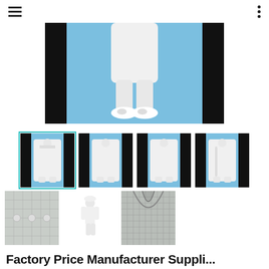Navigation bar with hamburger menu and options dots
[Figure (photo): Close-up of a person in white cleanroom suit and white shoes, lower body visible, standing in a blue studio with black panels on sides]
[Figure (photo): Thumbnail 1 (selected): Person in white cleanroom suit standing full body in blue studio with black panels, selected state with teal border]
[Figure (photo): Thumbnail 2: Person in white cleanroom suit standing full body in blue studio with black panels]
[Figure (photo): Thumbnail 3: Person in white cleanroom suit standing full body in blue studio with black panels]
[Figure (photo): Thumbnail 4: Person in white cleanroom suit standing full body in blue studio with black panels]
[Figure (photo): Thumbnail 5: Close-up detail of white cleanroom suit fabric with snaps/buttons]
[Figure (photo): Thumbnail 6: Small figure of person in white cleanroom suit and hat, full body on white background]
[Figure (photo): Thumbnail 7: Close-up of cleanroom suit collar/neckline detail, grey grid fabric]
Factory Price Manufacturer Supplying...